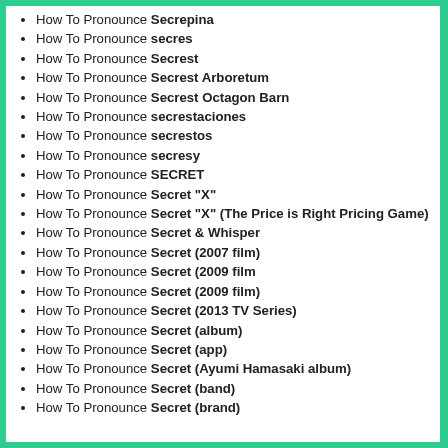How To Pronounce Secrepina
How To Pronounce secres
How To Pronounce Secrest
How To Pronounce Secrest Arboretum
How To Pronounce Secrest Octagon Barn
How To Pronounce secrestaciones
How To Pronounce secrestos
How To Pronounce secresy
How To Pronounce SECRET
How To Pronounce Secret "X"
How To Pronounce Secret "X" (The Price is Right Pricing Game)
How To Pronounce Secret & Whisper
How To Pronounce Secret (2007 film)
How To Pronounce Secret (2009 film
How To Pronounce Secret (2009 film)
How To Pronounce Secret (2013 TV Series)
How To Pronounce Secret (album)
How To Pronounce Secret (app)
How To Pronounce Secret (Ayumi Hamasaki album)
How To Pronounce Secret (band)
How To Pronounce Secret (brand)